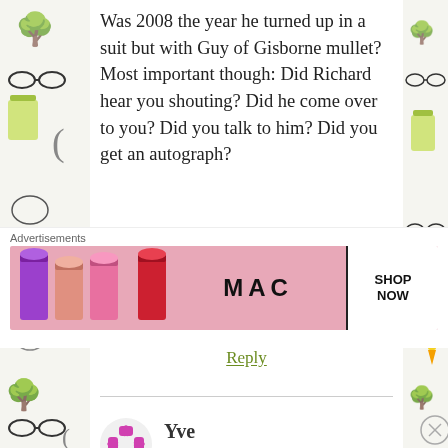Was 2008 the year he turned up in a suit but with Guy of Gisborne mullet? Most important though: Did Richard hear you shouting? Did he come over to you? Did you talk to him? Did you get an autograph?
★ Like
Reply
Yve
March 8, 2019 at 5:28 pm
He was a small dot in my photographs, and unless he
Advertisements
[Figure (illustration): MAC cosmetics advertisement showing lipsticks in purple, pink, and red colors with MAC logo and SHOP NOW box]